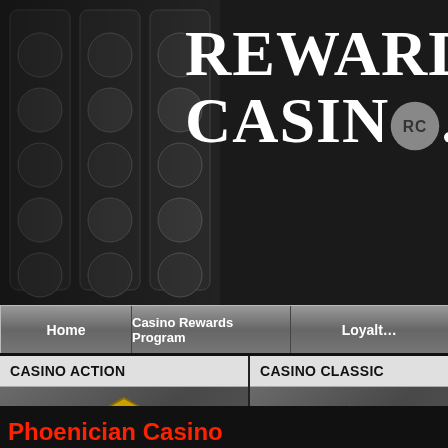[Figure (screenshot): Rewards-Casino.com website header banner with slot machine imagery on left and large white bold text 'REWARDS-CASINO.com' on dark background]
Home | Casino Rewards Program | Loyalty
CASINO ACTION
[Figure (logo): Casino Action logo - gold hexagonal badge with black background, gold text reading CASINO ACTION]
CASINO CLASSIC
[Figure (logo): Casino Classic logo - oval sign with red, green and yellow lights, text reading CASINO CLASSIC]
Phoenician Casino